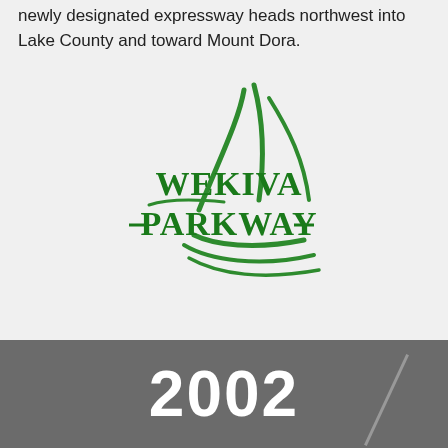newly designated expressway heads northwest into Lake County and toward Mount Dora.
[Figure (logo): Wekiva Parkway logo — green stylized grass/reeds with bold green serif text reading WEKIVA PARKWAY]
2002